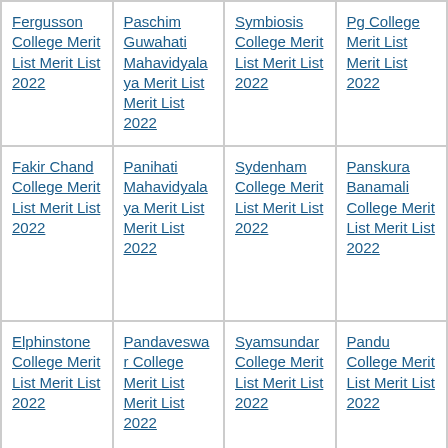Fergusson College Merit List Merit List 2022
Paschim Guwahati Mahavidyalaya Merit List Merit List 2022
Symbiosis College Merit List Merit List 2022
Pg College Merit List Merit List 2022
Fakir Chand College Merit List Merit List 2022
Panihati Mahavidyalaya Merit List Merit List 2022
Sydenham College Merit List Merit List 2022
Panskura Banamali College Merit List Merit List 2022
Elphinstone College Merit List Merit List 2022
Pandaveswar College Merit List Merit List 2022
Syamsundar College Merit List Merit List 2022
Pandu College Merit List Merit List 2022